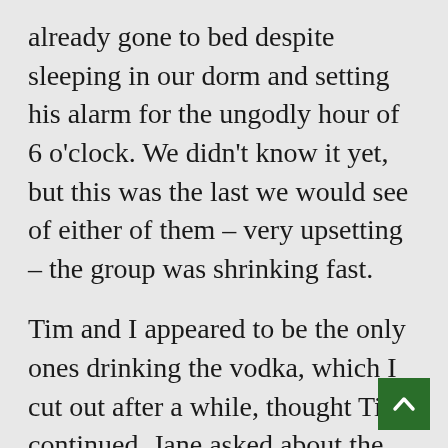already gone to bed despite sleeping in our dorm and setting his alarm for the ungodly hour of 6 o'clock. We didn't know it yet, but this was the last we would see of either of them – very upsetting – the group was shrinking fast.
Tim and I appeared to be the only ones drinking the vodka, which I cut out after a while, thought Tim continued. Jane asked about the secret of the tooth, and hearing already that it had had its hiding place revealed (by Tim himself), insisted that as she would be sharing the same flight home tomorrow as Tim and the tooth she ought to be told, she was let into its secret: it was in his washbag with those thin that some people were shocked that BTCV